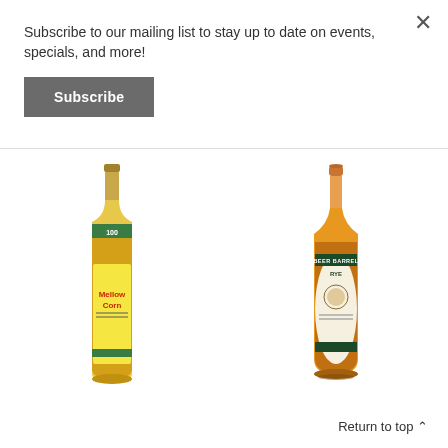Subscribe to our mailing list to stay up to date on events, specials, and more!
Subscribe
[Figure (photo): Mellow Corn Kentucky Straight Corn Whiskey bottle with yellow and green label]
[Figure (photo): Beer Barrel Rye whiskey bottle with white and green label, copper cap]
Return to top ^